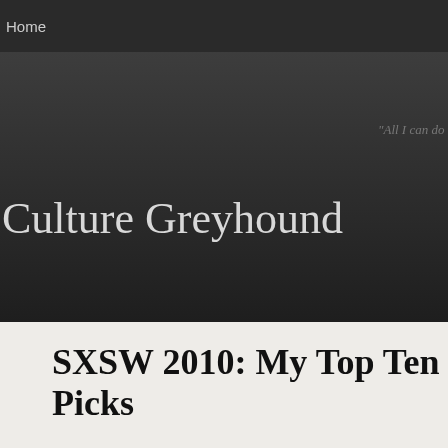Home
Culture Greyhound
"All I can do is be me, w
SXSW 2010: My Top Ten Picks
[Figure (photo): SXSW Austin Texas badge/sign partially visible at bottom of page]